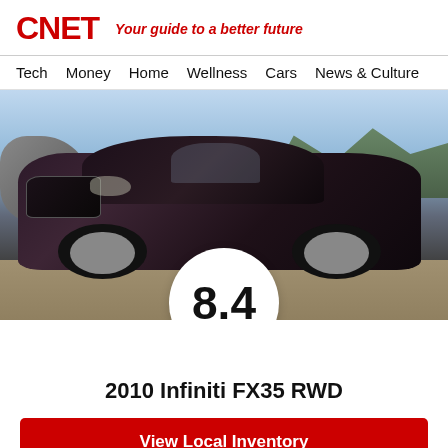CNET — Your guide to a better future
Tech  Money  Home  Wellness  Cars  News & Culture
[Figure (photo): Dark purple/maroon 2010 Infiniti FX35 RWD SUV photographed outdoors on gravel with rocky terrain and mountains in background under blue sky. A white circle with score 8.4 overlays the bottom center of the image.]
2010 Infiniti FX35 RWD
View Local Inventory